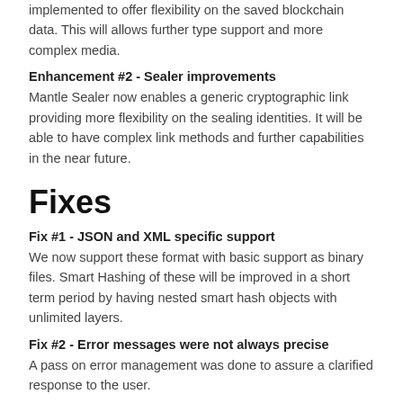implemented to offer flexibility on the saved blockchain data. This will allows further type support and more complex media.
Enhancement #2 - Sealer improvements
Mantle Sealer now enables a generic cryptographic link providing more flexibility on the sealing identities. It will be able to have complex link methods and further capabilities in the near future.
Fixes
Fix #1 - JSON and XML specific support
We now support these format with basic support as binary files. Smart Hashing of these will be improved in a short term period by having nested smart hash objects with unlimited layers.
Fix #2 - Error messages were not always precise
A pass on error management was done to assure a clarified response to the user.